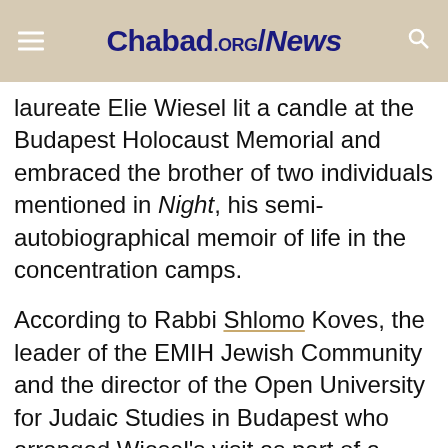Chabad.ORG/News
laureate Elie Wiesel lit a candle at the Budapest Holocaust Memorial and embraced the brother of two individuals mentioned in Night, his semi-autobiographical memoir of life in the concentration camps.
According to Rabbi Shlomo Koves, the leader of the EMIH Jewish Community and the director of the Open University for Judaic Studies in Budapest who arranged Wiesel's visit as part of a celebration of 20 years of Chabad-Lubavitch activities in the country, the public was struck by the poignancy of a trip that Wiesel – then a liberated post-World War II refugee – said he